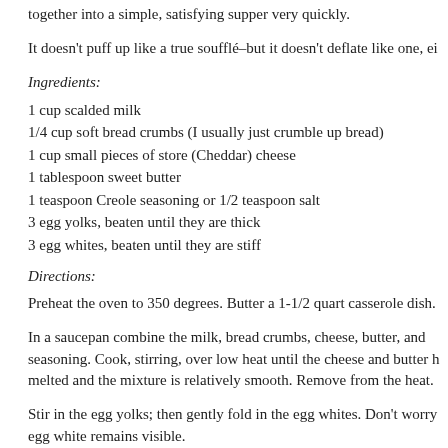together into a simple, satisfying supper very quickly.
It doesn't puff up like a true soufflé–but it doesn't deflate like one, ei
Ingredients:
1 cup scalded milk
1/4 cup soft bread crumbs (I usually just crumble up bread)
1 cup small pieces of store (Cheddar) cheese
1 tablespoon sweet butter
1 teaspoon Creole seasoning or 1/2 teaspoon salt
3 egg yolks, beaten until they are thick
3 egg whites, beaten until they are stiff
Directions:
Preheat the oven to 350 degrees. Butter a 1-1/2 quart casserole dish.
In a saucepan combine the milk, bread crumbs, cheese, butter, and seasoning. Cook, stirring, over low heat until the cheese and butter h melted and the mixture is relatively smooth. Remove from the heat.
Stir in the egg yolks; then gently fold in the egg whites. Don't worry egg white remains visible.
Pour the mixture into the prepared casserole dish. Bake until much o top turns a warm brown; this should take between 20 and 30 minutes